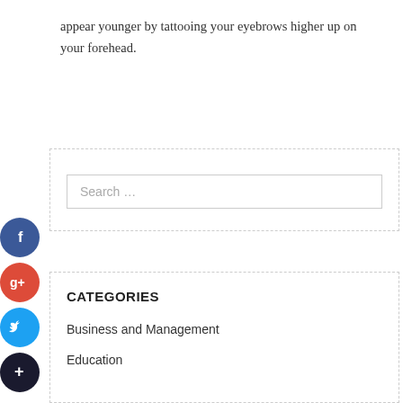appear younger by tattooing your eyebrows higher up on your forehead.
[Figure (other): Search box widget with dashed border and placeholder text 'Search …']
CATEGORIES
Business and Management
Education